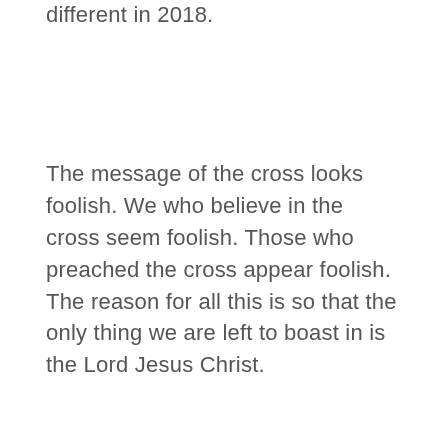different in 2018.
The message of the cross looks foolish. We who believe in the cross seem foolish. Those who preached the cross appear foolish. The reason for all this is so that the only thing we are left to boast in is the Lord Jesus Christ.